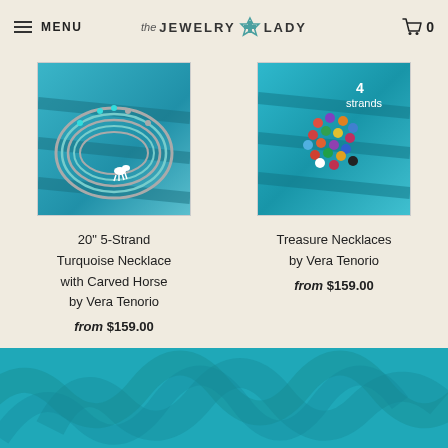MENU | the JEWELRY LADY | 0
[Figure (photo): Turquoise multi-strand necklace with carved horse pendant on blue painted wood surface]
[Figure (photo): Multi-color treasure necklace with 4 strands by Vera Tenorio on blue painted wood surface]
20" 5-Strand Turquoise Necklace with Carved Horse by Vera Tenorio
from $159.00
Treasure Necklaces by Vera Tenorio
from $159.00
[Figure (illustration): Teal footer with decorative swirl pattern]